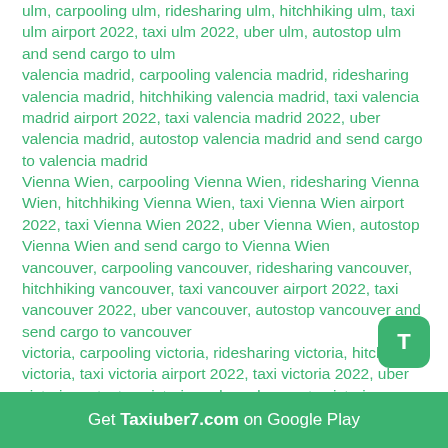ulm, carpooling ulm, ridesharing ulm, hitchhiking ulm, taxi ulm airport 2022, taxi ulm 2022, uber ulm, autostop ulm and send cargo to ulm
valencia madrid, carpooling valencia madrid, ridesharing valencia madrid, hitchhiking valencia madrid, taxi valencia madrid airport 2022, taxi valencia madrid 2022, uber valencia madrid, autostop valencia madrid and send cargo to valencia madrid
Vienna Wien, carpooling Vienna Wien, ridesharing Vienna Wien, hitchhiking Vienna Wien, taxi Vienna Wien airport 2022, taxi Vienna Wien 2022, uber Vienna Wien, autostop Vienna Wien and send cargo to Vienna Wien
vancouver, carpooling vancouver, ridesharing vancouver, hitchhiking vancouver, taxi vancouver airport 2022, taxi vancouver 2022, uber vancouver, autostop vancouver and send cargo to vancouver
victoria, carpooling victoria, ridesharing victoria, hitchhiking victoria, taxi victoria airport 2022, taxi victoria 2022, uber victoria, autostop victoria and send cargo to victoria
vilnius, carpooling vilnius, ridesharing vilnius, hitchhiking vilnius, taxi vilnius airport 2022, taxi vilnius 2022, uber vilnius, autostop vilnius and send cargo to vilnius
[Figure (other): Green rounded square button with white letter T]
Get Taxiuber7.com on Google Play